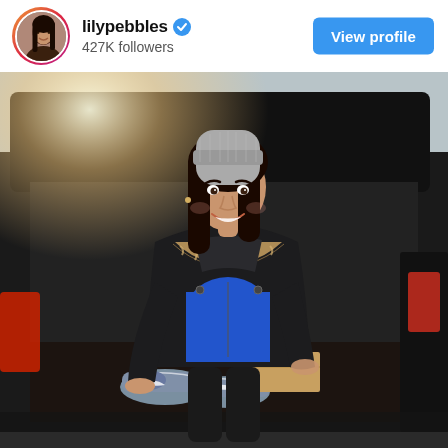[Figure (photo): Instagram profile header showing lilypebbles account with gradient avatar ring, verified badge, 427K followers count, and blue View profile button]
[Figure (photo): Photo of a smiling young woman with long dark hair wearing a grey knit beanie hat, black fur-trimmed parka jacket over a blue sweater, standing at the open boot/trunk of a black SUV on a London street. Blue Nike trainers visible inside the boot.]